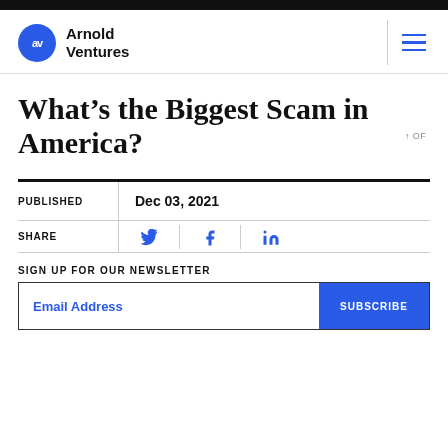[Figure (logo): Arnold Ventures logo: blue circle with 'AV' text and company name Arnold Ventures in black bold text]
What’s the Biggest Scam in America?
| PUBLISHED | Dec 03, 2021 |
| SHARE | 🐦 𝐟 in |
SIGN UP FOR OUR NEWSLETTER
Email Address   SUBSCRIBE